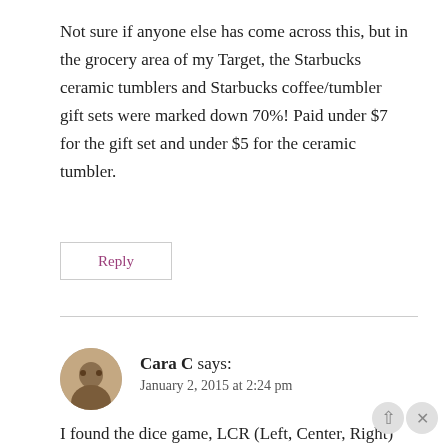Not sure if anyone else has come across this, but in the grocery area of my Target, the Starbucks ceramic tumblers and Starbucks coffee/tumbler gift sets were marked down 70%! Paid under $7 for the gift set and under $5 for the ceramic tumbler.
Reply
Cara C says:
January 2, 2015 at 2:24 pm
I found the dice game, LCR (Left, Center, Right) for 70% off. I checked the other ines, but only the ones without the little blue logo in the upper...